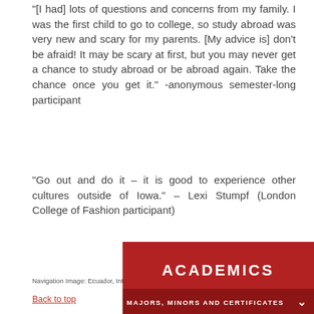“[I had] lots of questions and concerns from my family. I was the first child to go to college, so study abroad was very new and scary for my parents. [My advice is] don’t be afraid! It may be scary at first, but you may never get a chance to study abroad or be abroad again. Take the chance once you get it.” -anonymous semester-long participant
“Go out and do it – it is good to experience other cultures outside of Iowa.” – Lexi Stumpf (London College of Fashion participant)
Navigation Image: Ecuador, International Student Teaching
Back to top
[Figure (screenshot): Dark red/crimson banner showing 'ACADEMICS' in large bold white uppercase text, with a darker red sub-section bar showing 'MAJORS, MINORS AND CERTIFICATES' in bold white uppercase text with a downward chevron arrow on the right side. Partial screenshot of a university website navigation element.]